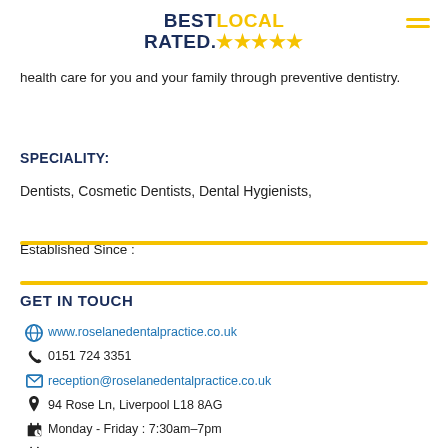BEST LOCAL RATED. ★★★★★
health care for you and your family through preventive dentistry.
SPECIALITY:
Dentists, Cosmetic Dentists, Dental Hygienists,
[Figure (other): Horizontal yellow divider bar]
Established Since :
[Figure (other): Horizontal yellow divider bar]
GET IN TOUCH
www.roselanedentalpractice.co.uk
0151 724 3351
reception@roselanedentalpractice.co.uk
94 Rose Ln, Liverpool L18 8AG
Monday - Friday : 7:30am–7pm
Saturday: 9am - 1pm - Sunday : OFF